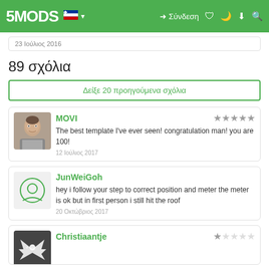5MODS | Σύνδεση
23 Ιούλιος 2016
89 σχόλια
Δείξε 20 προηγούμενα σχόλια
MOVI — The best template I've ever seen! congratulation man! you are 100! — 12 Ιούλιος 2017
JunWeiGoh — hey i follow your step to correct position and meter the meter is ok but in first person i still hit the roof — 20 Οκτώβριος 2017
Christiaantje